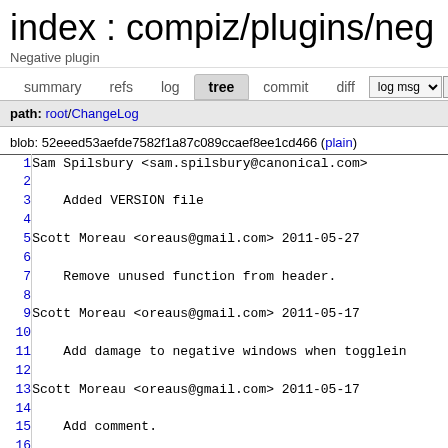index : compiz/plugins/neg
Negative plugin
summary  refs  log  tree  commit  diff  log msg
path: root/ChangeLog
blob: 52eeed53aefde7582f1a87c089ccaef8ee1cd466 (plain)
| line | code |
| --- | --- |
| 1 | Sam Spilsbury <sam.spilsbury@canonical.com> |
| 2 |  |
| 3 |     Added VERSION file |
| 4 |  |
| 5 | Scott Moreau <oreaus@gmail.com> 2011-05-27 |
| 6 |  |
| 7 |     Remove unused function from header. |
| 8 |  |
| 9 | Scott Moreau <oreaus@gmail.com> 2011-05-17 |
| 10 |  |
| 11 |     Add damage to negative windows when toggleing |
| 12 |  |
| 13 | Scott Moreau <oreaus@gmail.com> 2011-05-17 |
| 14 |  |
| 15 |     Add comment. |
| 16 |  |
| 17 | Scott Moreau <oreaus@gmail.com> 2011-05-17 |
| 18 |  |